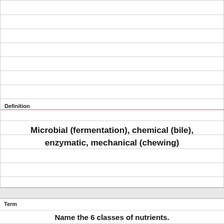Definition
Microbial (fermentation), chemical (bile), enzymatic, mechanical (chewing)
Term
Name the 6 classes of nutrients.